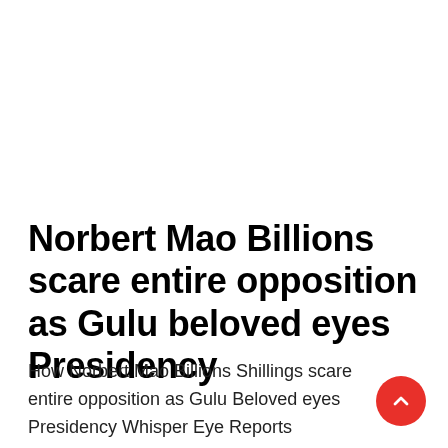Norbert Mao Billions scare entire opposition as Gulu beloved eyes Presidency
How Norbert Mao Billions Shillings scare entire opposition as Gulu Beloved eyes Presidency Whisper Eye Reports Democratic Party (DP)